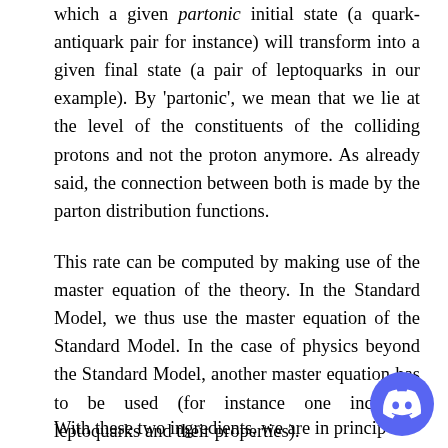which a given partonic initial state (a quark-antiquark pair for instance) will transform into a given final state (a pair of leptoquarks in our example). By 'partonic', we mean that we lie at the level of the constituents of the colliding protons and not the proton anymore. As already said, the connection between both is made by the parton distribution functions.
This rate can be computed by making use of the master equation of the theory. In the Standard Model, we thus use the master equation of the Standard Model. In the case of physics beyond the Standard Model, another master equation has to be used (for instance one including leptoquarks and their properties).
With these two ingredients, we are in princip...